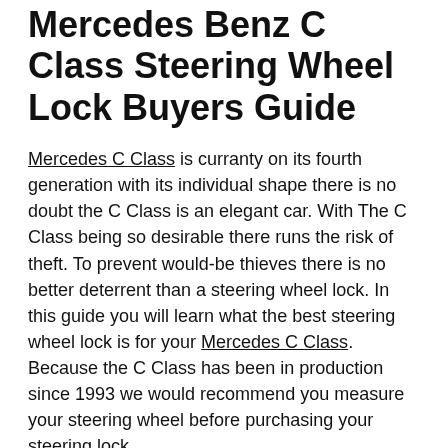Mercedes Benz C Class Steering Wheel Lock Buyers Guide
Mercedes C Class is curranty on its fourth generation with its individual shape there is no doubt the C Class is an elegant car. With The C Class being so desirable there runs the risk of theft. To prevent would-be thieves there is no better deterrent than a steering wheel lock. In this guide you will learn what the best steering wheel lock is for your Mercedes C Class. Because the C Class has been in production since 1993 we would recommend you measure your steering wheel before purchasing your steering lock.
It is true that these devices may stop someone who doesn't have much experience from stealing your